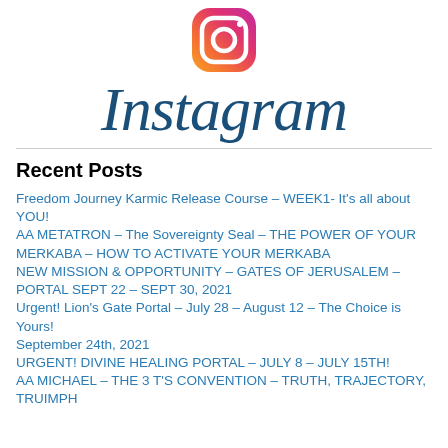[Figure (logo): Instagram logo: gradient icon (orange to pink) above the Instagram wordmark in dark blue italic script]
Recent Posts
Freedom Journey Karmic Release Course – WEEK1- It's all about YOU!
AA METATRON – The Sovereignty Seal – THE POWER OF YOUR MERKABA – HOW TO ACTIVATE YOUR MERKABA
NEW MISSION & OPPORTUNITY – GATES OF JERUSALEM – PORTAL SEPT 22 – SEPT 30, 2021
Urgent! Lion's Gate Portal – July 28 – August 12 – The Choice is Yours!
September 24th, 2021
URGENT! DIVINE HEALING PORTAL – JULY 8 – JULY 15TH!
AA MICHAEL – THE 3 T'S CONVENTION – TRUTH, TRAJECTORY, TRUIMPH